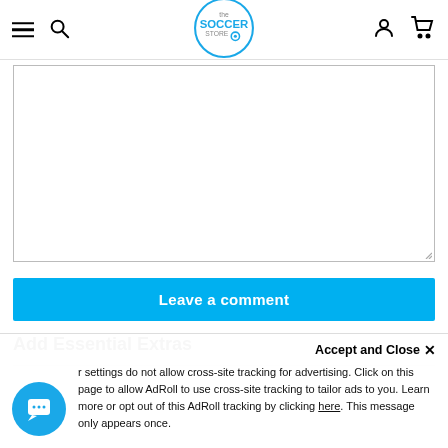the Soccer Store — navigation header with hamburger menu, search, logo, account, and cart icons
[Figure (screenshot): Empty textarea input box with resize handle at bottom-right]
Leave a comment
Add Essential Extras
Your browser settings do not allow cross-site tracking for advertising. Click on this page to allow AdRoll to use cross-site tracking to tailor ads to you. Learn more or opt out of this AdRoll tracking by clicking here. This message only appears once.
Accept and Close ✕